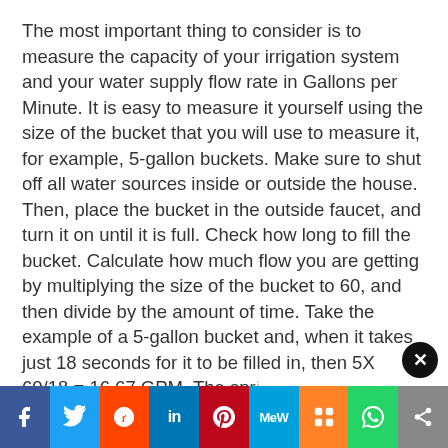The most important thing to consider is to measure the capacity of your irrigation system and your water supply flow rate in Gallons per Minute. It is easy to measure it yourself using the size of the bucket that you will use to measure it, for example, 5-gallon buckets. Make sure to shut off all water sources inside or outside the house. Then, place the bucket in the outside faucet, and turn it on until it is full. Check how long to fill the bucket. Calculate how much flow you are getting by multiplying the size of the bucket to 60, and then divide by the amount of time. Take the example of a 5-gallon bucket and, when it takes just 18 seconds for it to be filled in, then 5X 60/18 = 16.67 GPM. The spr...
[Figure (other): Social media share bar with buttons for Facebook, Twitter, Reddit, LinkedIn, Pinterest, MeWe, Mix, WhatsApp, and Share]